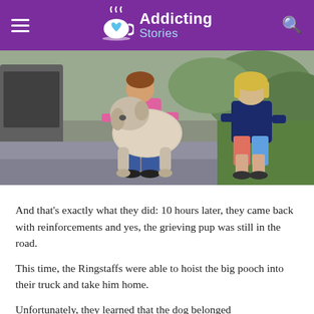Addicting Stories
[Figure (photo): Two children hoisting a large fluffy dog (appears to be a Great Pyrenees or similar breed) near the back of a truck on a driveway. One child in a pink shirt and jeans is holding the dog, and another child in a navy blue shirt and colorful shorts stands nearby on grass.]
And that’s exactly what they did: 10 hours later, they came back with reinforcements and yes, the grieving pup was still in the road.
This time, the Ringstaffs were able to hoist the big pooch into their truck and take him home.
Unfortunately, they learned that the dog belonged